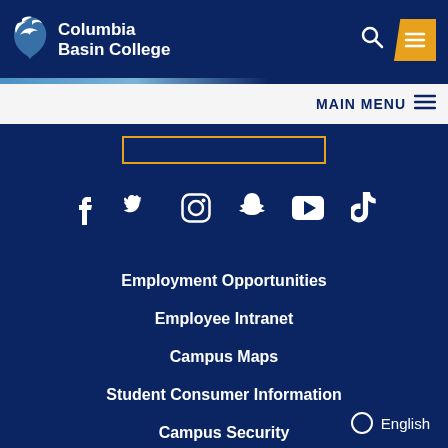Columbia Basin College
[Figure (logo): Columbia Basin College logo with bird icon and text]
MAIN MENU
[Figure (infographic): Social media icons: Facebook, Twitter, Instagram, Snapchat, YouTube, TikTok]
Employment Opportunities
Employee Intranet
Campus Maps
Student Consumer Information
Campus Security
English